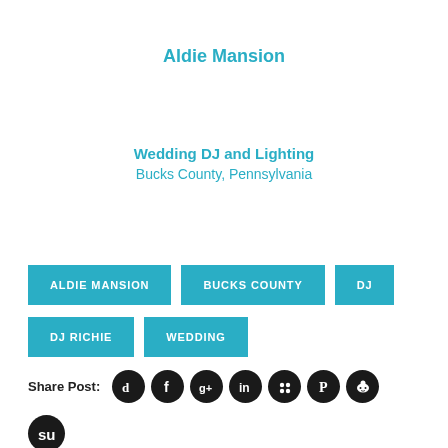Aldie Mansion
Wedding DJ and Lighting
Bucks County, Pennsylvania
ALDIE MANSION
BUCKS COUNTY
DJ
DJ RICHIE
WEDDING
Share Post: